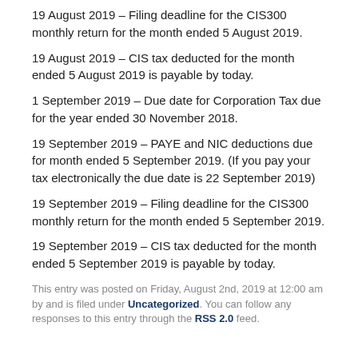19 August 2019 – Filing deadline for the CIS300 monthly return for the month ended 5 August 2019.
19 August 2019 – CIS tax deducted for the month ended 5 August 2019 is payable by today.
1 September 2019 – Due date for Corporation Tax due for the year ended 30 November 2018.
19 September 2019 – PAYE and NIC deductions due for month ended 5 September 2019. (If you pay your tax electronically the due date is 22 September 2019)
19 September 2019 – Filing deadline for the CIS300 monthly return for the month ended 5 September 2019.
19 September 2019 – CIS tax deducted for the month ended 5 September 2019 is payable by today.
This entry was posted on Friday, August 2nd, 2019 at 12:00 am by and is filed under Uncategorized. You can follow any responses to this entry through the RSS 2.0 feed.